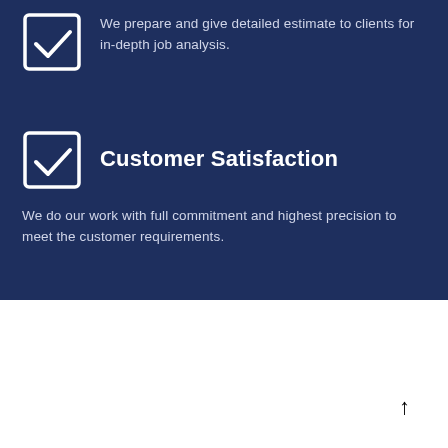We prepare and give detailed estimate to clients for in-depth job analysis.
[Figure (illustration): Checkbox icon with checkmark, white outline on dark blue background]
Customer Satisfaction
We do our work with full commitment and highest precision to meet the customer requirements.